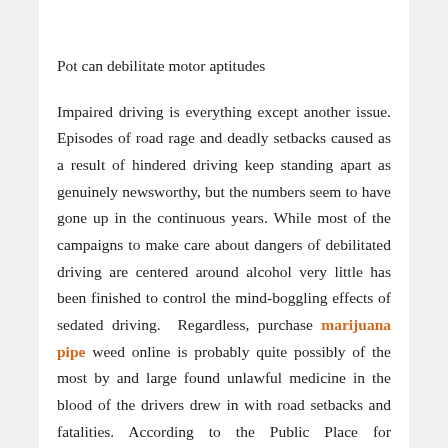Pot can debilitate motor aptitudes
Impaired driving is everything except another issue. Episodes of road rage and deadly setbacks caused as a result of hindered driving keep standing apart as genuinely newsworthy, but the numbers seem to have gone up in the continuous years. While most of the campaigns to make care about dangers of debilitated driving are centered around alcohol very little has been finished to control the mind-boggling effects of sedated driving. Regardless, purchase marijuana pipe weed online is probably quite possibly of the most by and large found unlawful medicine in the blood of the drivers drew in with road setbacks and fatalities. According to the Public Place for Biotechnology Data, marijuana is a common prescription smoked by the age bundle that faces the most road car crashes. In relationship, the degree of road car accidents in which one driver attempted positive for marijuana goes from 6% to 32